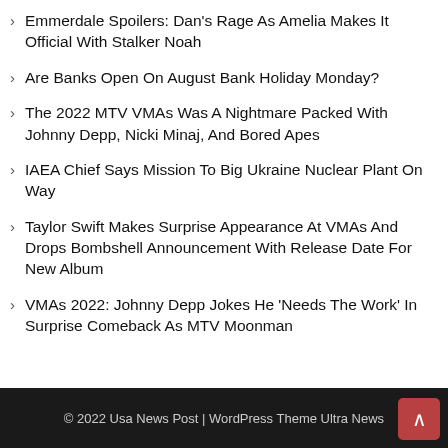Emmerdale Spoilers: Dan's Rage As Amelia Makes It Official With Stalker Noah
Are Banks Open On August Bank Holiday Monday?
The 2022 MTV VMAs Was A Nightmare Packed With Johnny Depp, Nicki Minaj, And Bored Apes
IAEA Chief Says Mission To Big Ukraine Nuclear Plant On Way
Taylor Swift Makes Surprise Appearance At VMAs And Drops Bombshell Announcement With Release Date For New Album
VMAs 2022: Johnny Depp Jokes He 'Needs The Work' In Surprise Comeback As MTV Moonman
© 2022 Usa News Post | WordPress Theme Ultra News